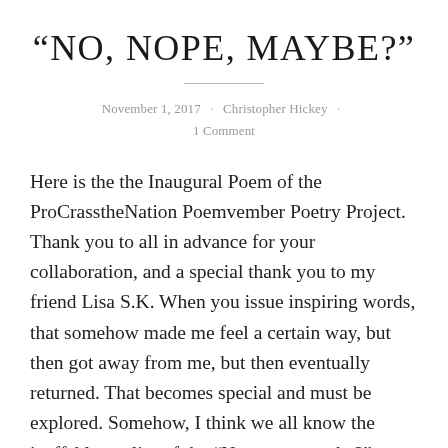“No, nope, maybe?”
November 1, 2017 · Christopher Hickey · 1 Comment
Here is the the Inaugural Poem of the ProCrasstheNation Poemvember Poetry Project. Thank you to all in advance for your collaboration, and a special thank you to my friend Lisa S.K. When you issue inspiring words, that somehow made me feel a certain way, but then got away from me, but then eventually returned. That becomes special and must be explored. Somehow, I think we all know the ineffable quality of the “No, nope, maybe?” processional process. I find myself in